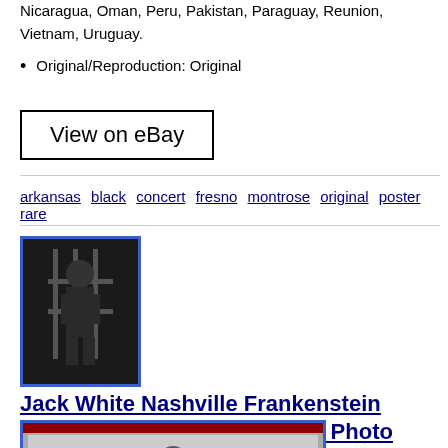Nicaragua, Oman, Peru, Pakistan, Paraguay, Reunion, Vietnam, Uruguay.
Original/Reproduction: Original
[Figure (other): View on eBay button]
arkansas  black  concert  fresno  montrose  original  poster  rare
[Figure (photo): Thumbnail photo of Frankenstein concert poster showing a dark figure behind bars]
Jack White Nashville Frankenstein Concert Poster 5/1/22 Glossy Photo Print Rare
[Figure (photo): Larger product photo of Frankenstein concert poster showing monster figure behind bars]